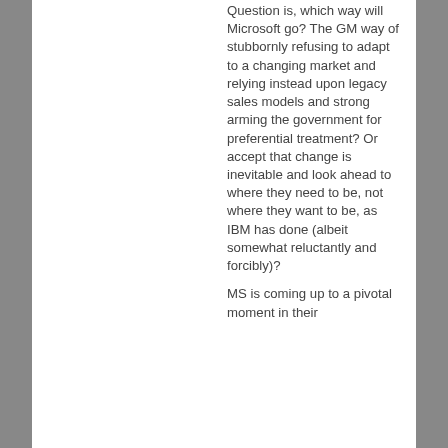Question is, which way will Microsoft go? The GM way of stubbornly refusing to adapt to a changing market and relying instead upon legacy sales models and strong arming the government for preferential treatment? Or accept that change is inevitable and look ahead to where they need to be, not where they want to be, as IBM has done (albeit somewhat reluctantly and forcibly)?
MS is coming up to a pivotal moment in their